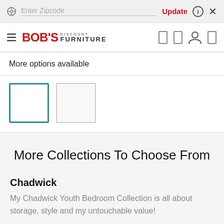Enter Zipcode
Update
More options available
More Collections To Choose From
Chadwick
My Chadwick Youth Bedroom Collection is all about storage, style and my untouchable value!